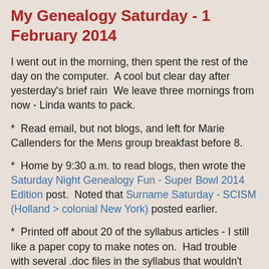My Genealogy Saturday - 1 February 2014
I went out in the morning, then spent the rest of the day on the computer.  A cool but clear day after yesterday's brief rain  We leave three mornings from now - Linda wants to pack.
*  Read email, but not blogs, and left for Marie Callenders for the Mens group breakfast before 8.
*  Home by 9:30 a.m. to read blogs, then wrote the Saturday Night Genealogy Fun - Super Bowl 2014 Edition post.  Noted that Surname Saturday - SCISM (Holland > colonial New York) posted earlier.
*  Printed off about 20 of the syllabus articles - I still like a paper copy to make notes on.  Had trouble with several .doc files in the syllabus that wouldn't open and crashed LibreOffice.  Wasted time rebooting twice.  Frustrating.
*  Read, sorted and answered email. Talked to Virginia V. on the phone and said farewell for now and said she likes...